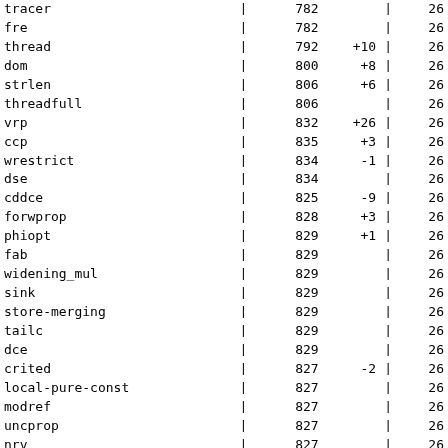| name | | | num | delta | | | val |
| --- | --- | --- | --- | --- | --- |
| tracer | | | 782 |  | | | 26 |
| fre | | | 782 |  | | | 26 |
| thread | | | 792 | +10 | | | 26 |
| dom | | | 800 | +8 | | | 26 |
| strlen | | | 806 | +6 | | | 26 |
| threadfull | | | 806 |  | | | 26 |
| vrp | | | 832 | +26 | | | 26 |
| ccp | | | 835 | +3 | | | 26 |
| wrestrict | | | 834 | -1 | | | 26 |
| dse | | | 834 |  | | | 26 |
| cddce | | | 825 | -9 | | | 26 |
| forwprop | | | 828 | +3 | | | 26 |
| phiopt | | | 829 | +1 | | | 26 |
| fab | | | 829 |  | | | 26 |
| widening_mul | | | 829 |  | | | 26 |
| sink | | | 829 |  | | | 26 |
| store-merging | | | 829 |  | | | 26 |
| tailc | | | 829 |  | | | 26 |
| dce | | | 829 |  | | | 26 |
| crited | | | 827 | -2 | | | 26 |
| local-pure-const | | | 827 |  | | | 26 |
| modref | | | 827 |  | | | 26 |
| uncprop | | | 827 |  | | | 26 |
| nrv | | | 827 |  | | | 26 |
| isel | | | 827 |  | | | 26 |
| optimized | | | 827 |  | | | 26 |
| waccess | | | 817 | -10 | | | 26 |
| expand | | | 817 |  | | | 26 |
| vregs | | | 792 | -25 | | | 26 |
| into_cfglayout | | | 792 |  | | | 26 |